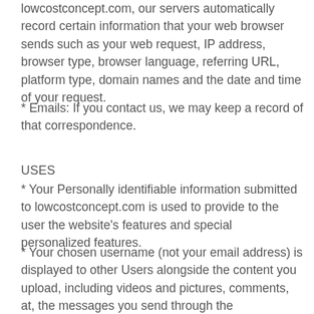lowcostconcept.com, our servers automatically record certain information that your web browser sends such as your web request, IP address, browser type, browser language, referring URL, platform type, domain names and the date and time of your request.
* Emails: If you contact us, we may keep a record of that correspondence.
USES
* Your Personally identifiable information submitted to lowcostconcept.com is used to provide to the user the website's features and special personalized features.
* Your chosen username (not your email address) is displayed to other Users alongside the content you upload, including videos and pictures, comments, at, the messages you send through the lowcostconcept.com private mail, etc. Other Users can contact you through, private messages.